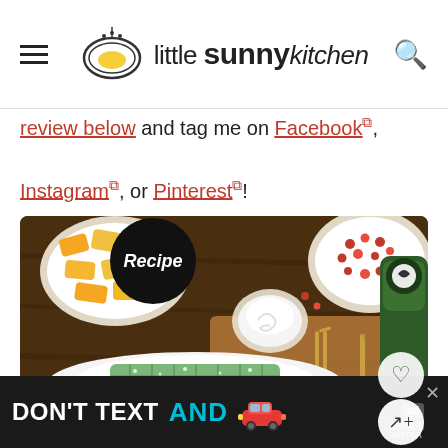little sunny kitchen
review below and tag me on Facebook ↗, Instagram ↗, or Pinterest ↗!
[Figure (photo): Overhead food photo showing a plate with green matcha waffles topped with powdered sugar, surrounded by bowls of diced mango and pomegranate seeds, a small bowl of whipped cream, gold cutlery on a wooden board, and a jar of matcha powder. A black circular 'Recipe' badge overlays the top-left area of the image.]
[Figure (screenshot): Advertisement banner with dark background showing text 'DON'T TEXT AND' with a red car emoji, an 'ad' label badge, and NHTSA branding. A close (X) button is visible in the top right.]